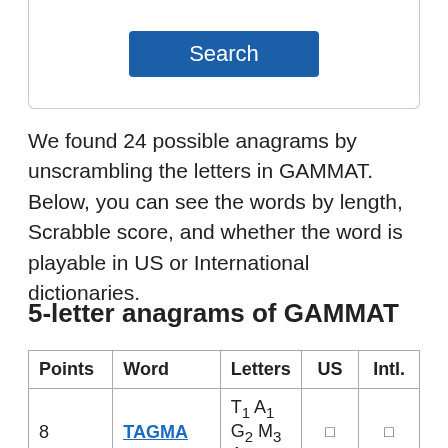[Figure (screenshot): Search button UI element inside a bordered box]
We found 24 possible anagrams by unscrambling the letters in GAMMAT. Below, you can see the words by length, Scrabble score, and whether the word is playable in US or International dictionaries.
5-letter anagrams of GAMMAT
| Points | Word | Letters | US | Intl. |
| --- | --- | --- | --- | --- |
| 8 | TAGMA | T1 A1 G2 M3 A1 | ☐ | ☐ |
| 10 | MAGMA | M3 A1 G2 M3 A1 | ☐ | ☐ |
| 10 | GAMMA | G2 A1 M3 M3 A1 | ☐ | ☐ |